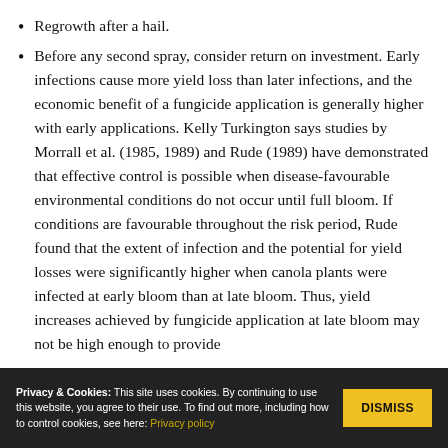Regrowth after a hail.
Before any second spray, consider return on investment. Early infections cause more yield loss than later infections, and the economic benefit of a fungicide application is generally higher with early applications. Kelly Turkington says studies by Morrall et al. (1985, 1989) and Rude (1989) have demonstrated that effective control is possible when disease-favourable environmental conditions do not occur until full bloom. If conditions are favourable throughout the risk period, Rude found that the extent of infection and the potential for yield losses were significantly higher when canola plants were infected at early bloom than at late bloom. Thus, yield increases achieved by fungicide application at late bloom may not be high enough to provide
Privacy & Cookies: This site uses cookies. By continuing to use this website, you agree to their use. To find out more, including how to control cookies, see here: Privacy policy   DISMISS